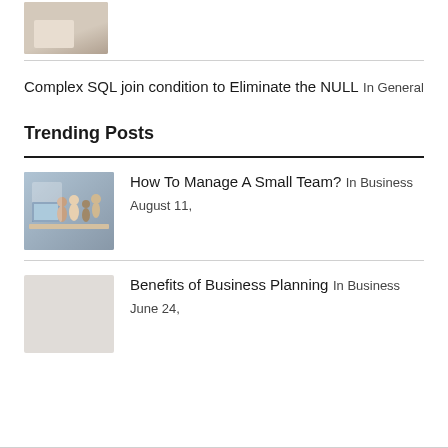[Figure (photo): Thumbnail image of a person at the top of the page]
Complex SQL join condition to Eliminate the NULL
In General
Trending Posts
[Figure (photo): Team meeting photo showing people gathered around a table with a laptop]
How To Manage A Small Team?
In Business
August 11,
[Figure (photo): Empty thumbnail placeholder for Benefits of Business Planning post]
Benefits of Business Planning
In Business
June 24,